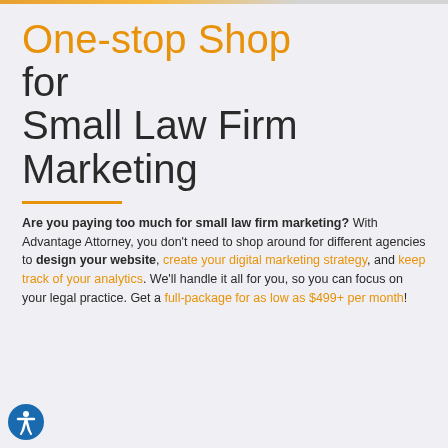One-stop Shop for Small Law Firm Marketing
Are you paying too much for small law firm marketing? With Advantage Attorney, you don't need to shop around for different agencies to design your website, create your digital marketing strategy, and keep track of your analytics. We'll handle it all for you, so you can focus on your legal practice. Get a full-package for as low as $499+ per month!